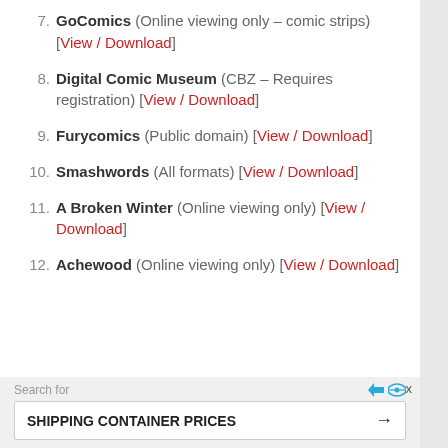7. GoComics (Online viewing only – comic strips) [View / Download]
8. Digital Comic Museum (CBZ – Requires registration) [View / Download]
9. Furycomics (Public domain) [View / Download]
10. Smashwords (All formats) [View / Download]
11. A Broken Winter (Online viewing only) [View / Download]
12. Achewood (Online viewing only) [View / Download]
Search for  SHIPPING CONTAINER PRICES →